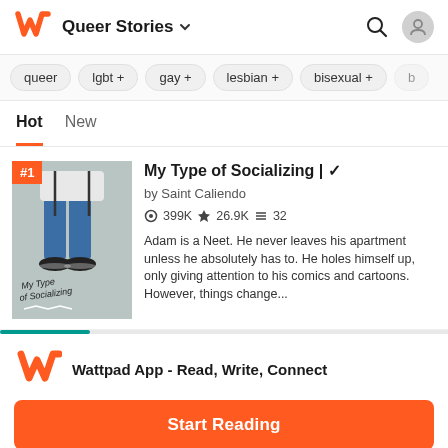Queer Stories
queer
lgbt +
gay +
lesbian +
bisexual +
Hot   New
[Figure (illustration): Book cover for 'My Type of Socializing' showing illustrated legs in jeans and sneakers on a grey background with handwritten title text]
My Type of Socializing | ✓
by Saint Caliendo
399K ★26.9K≡32
Adam is a Neet. He never leaves his apartment unless he absolutely has to. He holes himself up, only giving attention to his comics and cartoons. However, things change...
Wattpad App - Read, Write, Connect
Start Reading
Log in with Browser